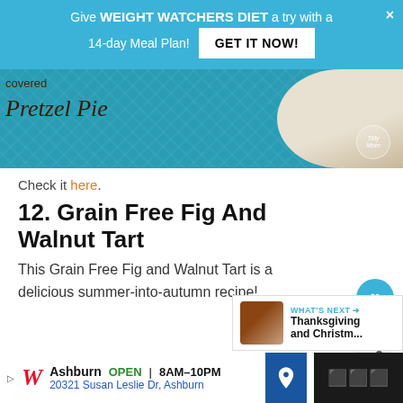[Figure (screenshot): Blue promotional banner ad: 'Give WEIGHT WATCHERS DIET a try with a 14-day Meal Plan! GET IT NOW!' with close X button]
[Figure (photo): Food blog image showing Chocolate Covered Pretzel Pie with teal background, cursive text and TidyMom logo]
Check it here.
12. Grain Free Fig And Walnut Tart
This Grain Free Fig and Walnut Tart is a delicious summer-into-autumn recipe!
[Figure (screenshot): What's Next widget showing Thanksgiving and Christm... with thumbnail]
[Figure (screenshot): Bottom advertisement bar: Walgreens - Ashburn OPEN 8AM-10PM, 20321 Susan Leslie Dr, Ashburn with navigation icon and dark panel]